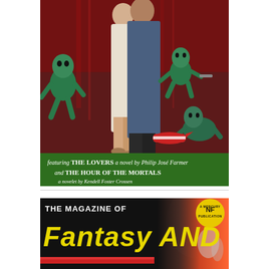[Figure (illustration): Science fiction pulp magazine cover illustration showing a man and woman embracing, surrounded by small green alien creatures. Bottom green band reads: featuring THE LOVERS a novel by Philip José Farmer and THE HOUR OF THE MORTALS a novelet by Kendell Foster Crossen.]
[Figure (photo): Partial view of The Magazine of Fantasy and Science Fiction cover header, showing large yellow italic text 'Fantasy AND' on a black background with a circular Mercury Publications badge on the right.]